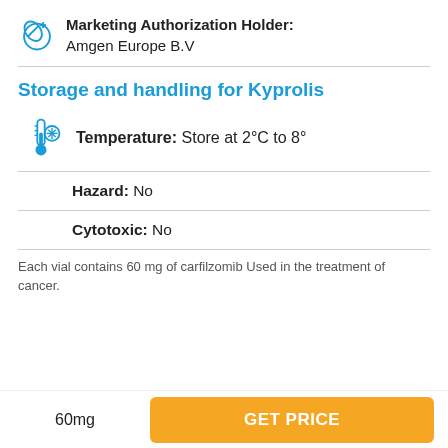Marketing Authorization Holder: Amgen Europe B.V
Storage and handling for Kyprolis
Temperature: Store at 2°C to 8°
Hazard: No
Cytotoxic: No
Each vial contains 60 mg of carfilzomib Used in the treatment of cancer.
60mg
GET PRICE